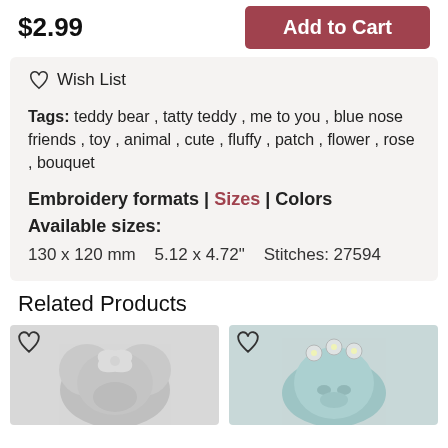$2.99
Add to Cart
♡ Wish List
Tags: teddy bear , tatty teddy , me to you , blue nose friends , toy , animal , cute , fluffy , patch , flower , rose , bouquet
Embroidery formats | Sizes | Colors
Available sizes:
130 x 120 mm   5.12 x 4.72"   Stitches: 27594
Related Products
[Figure (illustration): Embroidery design of a teddy bear with a bow]
[Figure (illustration): Embroidery design of a blue nose teddy bear with flowers]